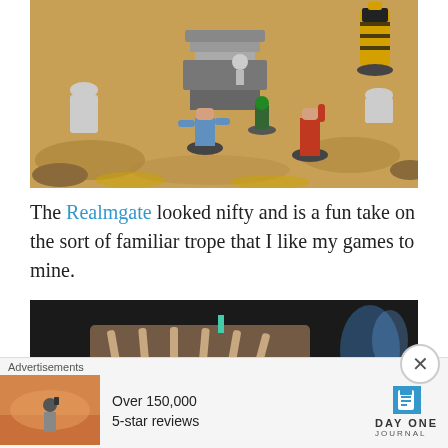[Figure (photo): Painted tabletop miniatures scene on a sandy/earthy game board, featuring zombie figures, a character in red robes, a robot or constructed figure in yellow/black, gravestones, and a ruined stone structure in the center.]
The Realmgate looked nifty and is a fun take on the sort of familiar trope that I like my games to mine.
[Figure (photo): A darker scene showing a large skeletal or bone-like creature/terrain piece on a game board, with blue ghostly elements visible in the background.]
Advertisements
[Figure (photo): Advertisement image showing a person from behind looking at a sunset landscape.]
Over 150,000 5-star reviews
[Figure (logo): Day One Journal app logo — a book icon in blue/teal with the text DAY ONE JOURNAL]